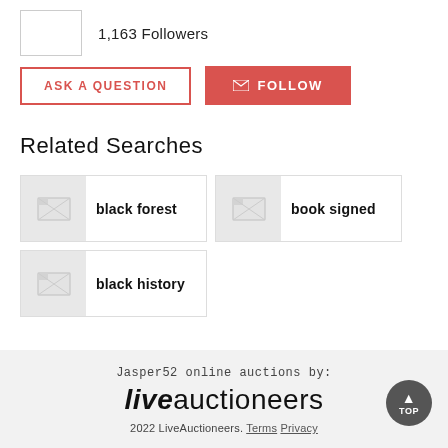1,163 Followers
ASK A QUESTION
FOLLOW
Related Searches
black forest
book signed
black history
Jasper52 online auctions by:
liveauctioneers
2022 LiveAuctioneers. Terms Privacy